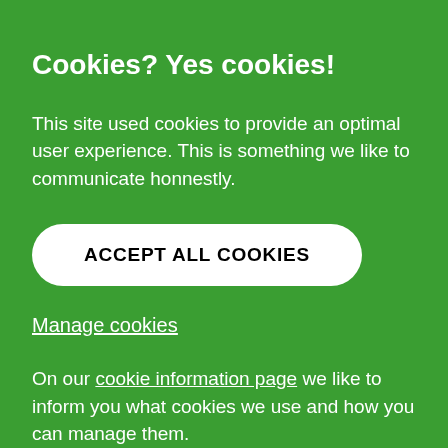Cookies? Yes cookies!
This site used cookies to provide an optimal user experience. This is something we like to communicate honnestly.
ACCEPT ALL COOKIES
Manage cookies
On our cookie information page we like to inform you what cookies we use and how you can manage them.